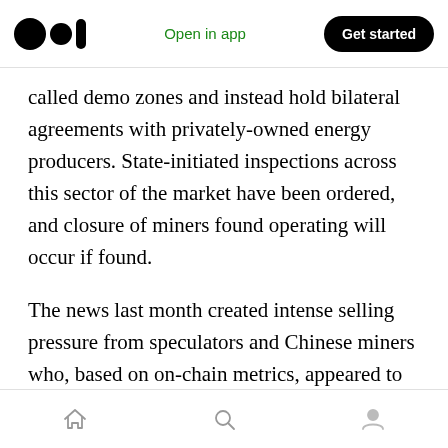Medium logo | Open in app | Get started
called demo zones and instead hold bilateral agreements with privately-owned energy producers. State-initiated inspections across this sector of the market have been ordered, and closure of miners found operating will occur if found.
The news last month created intense selling pressure from speculators and Chinese miners who, based on on-chain metrics, appeared to be liquidating holdings on the Chinese exchanges. Much of this news story should already be priced in, however like many complex developments in
Home | Search | Profile